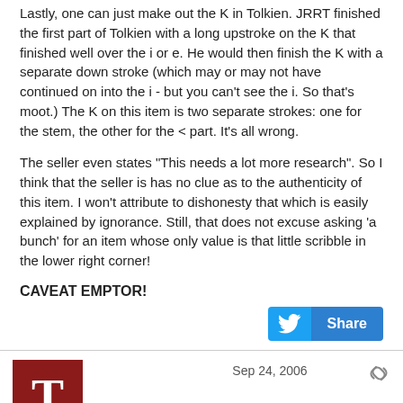Lastly, one can just make out the K in Tolkien. JRRT finished the first part of Tolkien with a long upstroke on the K that finished well over the i or e. He would then finish the K with a separate down stroke (which may or may not have continued on into the i - but you can't see the i. So that's moot.) The K on this item is two separate strokes: one for the stem, the other for the < part. It's all wrong.
The seller even states "This needs a lot more research". So I think that the seller is has no clue as to the authenticity of this item. I won't attribute to dishonesty that which is easily explained by ignorance. Still, that does not excuse asking 'a bunch' for an item whose only value is that little scribble in the lower right corner!
CAVEAT EMPTOR!
[Figure (other): Twitter share button]
Sep 24, 2006
[Figure (other): User avatar with letter T on dark red background]
Tinfang_Warble
What do you think about this?
Original sketch for Mordor